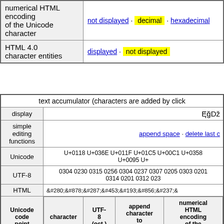|  |  |
| --- | --- |
| numerical HTML encoding of the Unicode character | not displayed · decimal · hexadecimal |
| HTML 4.0 character entities | displayed · not displayed |
| text accumulator (characters are added by click |
| --- |
| display | ĘǮğDž |
| simple editing functions | append space · delete last c |
| Unicode | U+0118 U+036E U+011F U+01C5 U+00C1 U+0358 U+0095 U+ |
| UTF-8 | 0304 0230 0315 0256 0304 0237 0307 0205 0303 0201 0314 0201 0312 023 |
| HTML | &#280;&#878;&#287;&#453;&#193;&#856;&#237;& |
| Unicode code point | character | UTF-8 (oct.) | append character to accumulator | numerical HTML encoding of the Unicode |